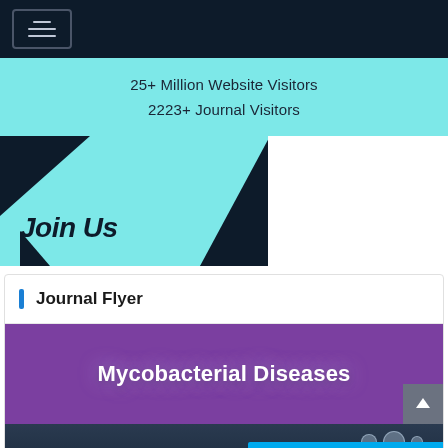Navigation menu header with hamburger icon
25+ Million Website Visitors
2223+ Journal Visitors
[Figure (illustration): Dark navy and teal geometric graphic with 'Join Us' text in bold italic]
Journal Flyer
[Figure (illustration): Purple background banner with white bold text 'Mycobacterial Diseases']
[Figure (photo): Dark blurred photo background with circular bokeh elements]
Leave a message